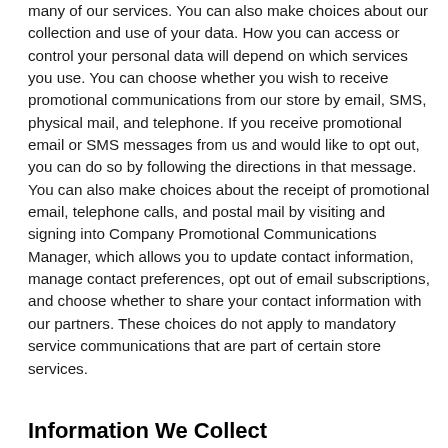many of our services. You can also make choices about our collection and use of your data. How you can access or control your personal data will depend on which services you use. You can choose whether you wish to receive promotional communications from our store by email, SMS, physical mail, and telephone. If you receive promotional email or SMS messages from us and would like to opt out, you can do so by following the directions in that message. You can also make choices about the receipt of promotional email, telephone calls, and postal mail by visiting and signing into Company Promotional Communications Manager, which allows you to update contact information, manage contact preferences, opt out of email subscriptions, and choose whether to share your contact information with our partners. These choices do not apply to mandatory service communications that are part of certain store services.
Information We Collect